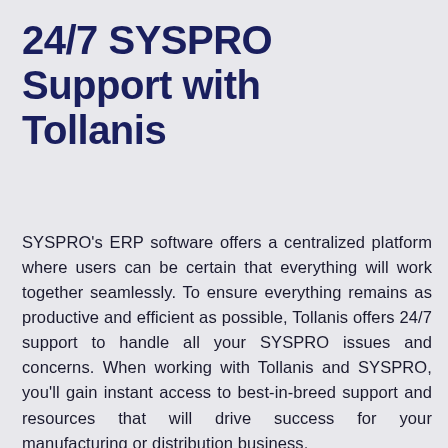24/7 SYSPRO Support with Tollanis
SYSPRO's ERP software offers a centralized platform where users can be certain that everything will work together seamlessly. To ensure everything remains as productive and efficient as possible, Tollanis offers 24/7 support to handle all your SYSPRO issues and concerns. When working with Tollanis and SYSPRO, you'll gain instant access to best-in-breed support and resources that will drive success for your manufacturing or distribution business.